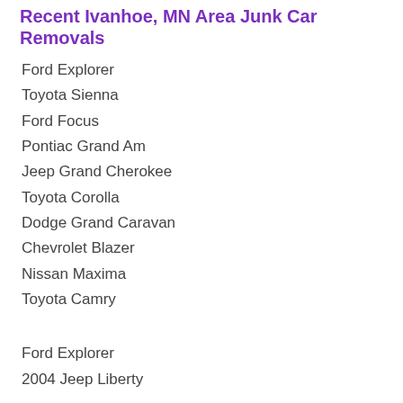Recent Ivanhoe, MN Area Junk Car Removals
Ford Explorer
Toyota Sienna
Ford Focus
Pontiac Grand Am
Jeep Grand Cherokee
Toyota Corolla
Dodge Grand Caravan
Chevrolet Blazer
Nissan Maxima
Toyota Camry
Ford Explorer
2004 Jeep Liberty